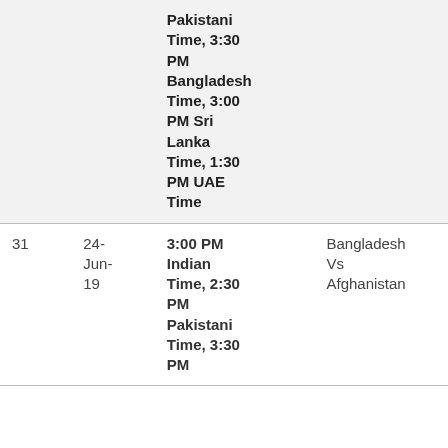| # | Date | Time | Match |
| --- | --- | --- | --- |
|  |  | Pakistani Time, 3:30 PM Bangladesh Time, 3:00 PM Sri Lanka Time, 1:30 PM UAE Time |  |
| 31 | 24-Jun-19 | 3:00 PM Indian Time, 2:30 PM Pakistani Time, 3:30 PM | Bangladesh Vs Afghanistan |